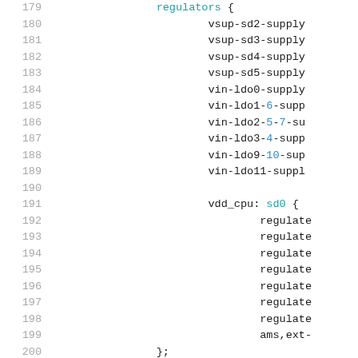[Figure (screenshot): Source code listing showing embedded device tree regulator configuration, lines 179-200. Lines show regulator supply properties and vdd_cpu sd0 block with regulator and ams,ext properties.]